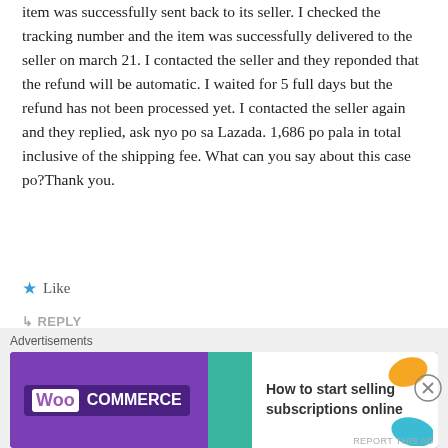item was successfully sent back to its seller. I checked the tracking number and the item was successfully delivered to the seller on march 21. I contacted the seller and they reponded that the refund will be automatic. I waited for 5 full days but the refund has not been processed yet. I contacted the seller again and they replied, ask nyo po sa Lazada. 1,686 po pala in total inclusive of the shipping fee. What can you say about this case po?Thank you.
Like
REPLY
EINz says: March 26, 2019 at 12:21 pm
Ouch! Yes, it should be automatic. Si Lazada dapat ang mag take action agad.
[Figure (screenshot): WooCommerce advertisement banner: How to start selling subscriptions online]